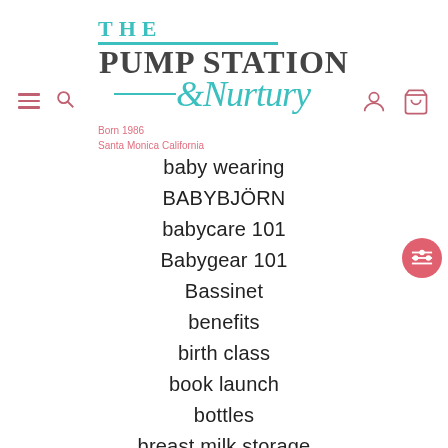[Figure (logo): The Pump Station & Nurtury logo with teal/turquoise and dark gray text, Born 1986 Santa Monica California tagline in pink]
baby wearing
BABYBJÖRN
babycare 101
Babygear 101
Bassinet
benefits
birth class
book launch
bottles
breast milk storage